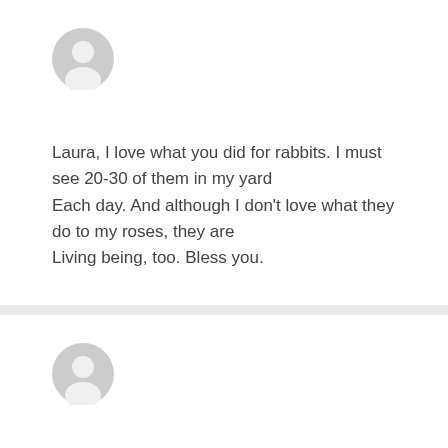[Figure (illustration): Generic user avatar icon - grey silhouette of a person in a circle, top comment card]
Laura, I love what you did for rabbits. I must see 20-30 of them in my yard Each day. And although I don't love what they do to my roses, they are Living being, too. Bless you.
[Figure (illustration): Generic user avatar icon - grey silhouette of a person in a circle, bottom comment card]